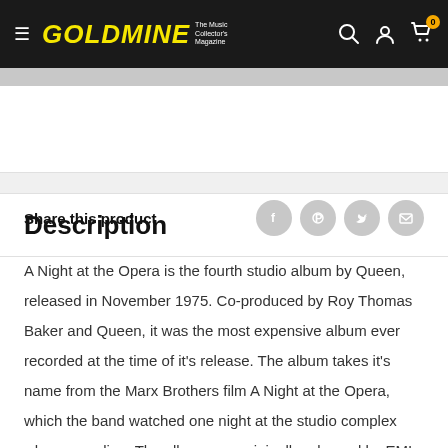GOLDMINE The Music Collector's Magazine
Share this product
Description
A Night at the Opera is the fourth studio album by Queen, released in November 1975. Co-produced by Roy Thomas Baker and Queen, it was the most expensive album ever recorded at the time of it's release. The album takes it's name from the Marx Brothers film A Night at the Opera, which the band watched one night at the studio complex when recording. The album was originally released by EMI in the United